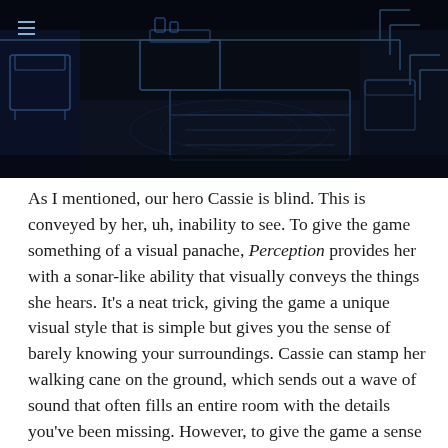[Figure (screenshot): Dark blue-tinted screenshot of a game environment showing a dimly lit room with furniture including chairs and what appears to be a bedroom or study scene rendered in a sonar/echolocation visual style.]
As I mentioned, our hero Cassie is blind. This is conveyed by her, uh, inability to see. To give the game something of a visual panache, Perception provides her with a sonar-like ability that visually conveys the things she hears. It's a neat trick, giving the game a unique visual style that is simple but gives you the sense of barely knowing your surroundings. Cassie can stamp her walking cane on the ground, which sends out a wave of sound that often fills an entire room with the details you've been missing. However, to give the game a sense of tension, an ephemeral being will give chase should you overdo it with the stick whacking. Being caught means falling back to a previous checkpoint – but finding a hiding spot requires you to use your cane. While certainly scary,